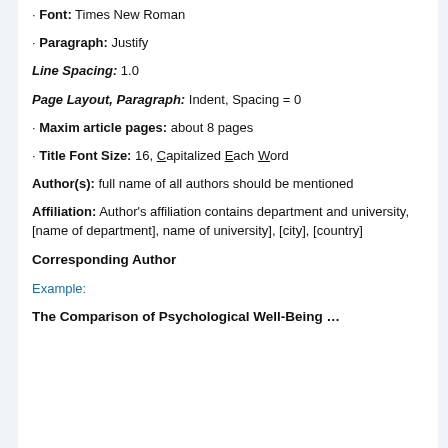· Font: Times New Roman
· Paragraph: Justify
Line Spacing: 1.0
Page Layout, Paragraph: Indent, Spacing = 0
· Maxim article pages: about 8 pages
· Title Font Size: 16, Capitalized Each Word
Author(s): full name of all authors should be mentioned
Affiliation: Author's affiliation contains department and university, [name of department], name of university], [city], [country]
Corresponding Author
Example:
The Comparison of Psychological Well-Being …